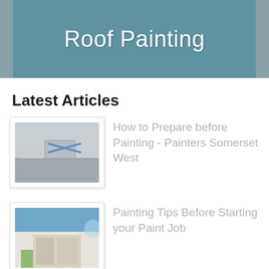Roof Painting
Latest Articles
How to Prepare before Painting - Painters Somerset West
Painting Tips Before Starting your Paint Job
Whitewash Your Wood Ceilings or